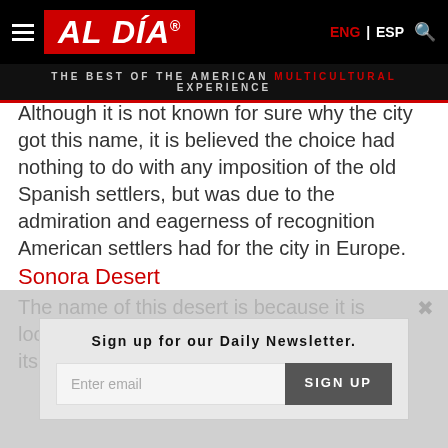AL DÍA — THE BEST OF THE AMERICAN MULTICULTURAL EXPERIENCE | ENG | ESP
Although it is not known for sure why the city got this name, it is believed the choice had nothing to do with any imposition of the old Spanish settlers, but was due to the admiration and eagerness of recognition American settlers had for the city in Europe.
Sonora Desert
The name of this desert is because it is located in the region of Sonora, which owes its name to the origins of the
Sign up for our Daily Newsletter.